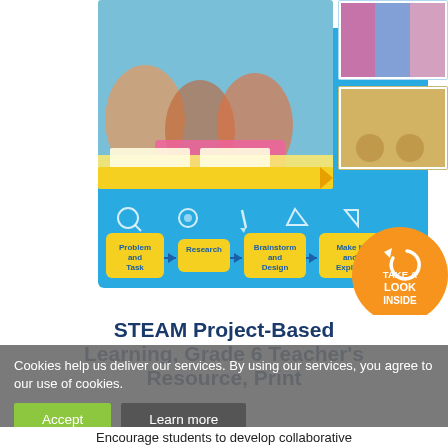[Figure (photo): Book cover showing students working collaboratively with pencils, and small photos on the right (market/cultural scenes), on a blue background with a workflow diagram showing: Problem and Task, Research, Brainstorm and Design, Make It and Explain steps, and an orange 'Take a Look Inside' circle button.]
STEAM Project-Based Learning, Grade 6 Teacher's Resource, Print
Cookies help us deliver our services. By using our services, you agree to our use of cookies.
Accept
Learn more
Encourage students to develop collaborative